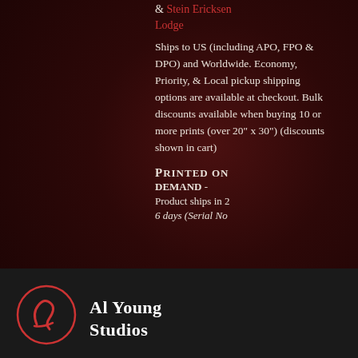& Stein Ericksen Lodge
Ships to US (including APO, FPO & DPO) and Worldwide. Economy, Priority, & Local pickup shipping options are available at checkout. Bulk discounts available when buying 10 or more prints (over 20" x 30") (discounts shown in cart)
Printed on Demand -
Product ships in 2 6 days (Serial No
Al Young Studios